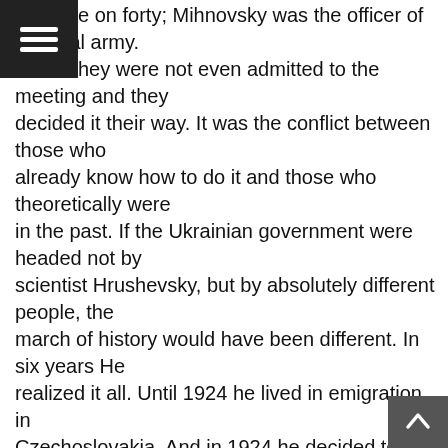e on forty; Mihnovsky was the officer of imperial army. hey were not even admitted to the meeting and they decided it their way. It was the conflict between those who already know how to do it and those who theoretically were in the past. If the Ukrainian government were headed not by scientist Hrushevsky, but by absolutely different people, the march of history would have been different. In six years He realized it all. Until 1924 he lived in emigration in Czechoslovakia. And in 1924 he decided to return to the Soviet Ukraine…
P.Hayrikyan: Hrushevsky?
M.Horyn: During the Bolshevik rule. He decided to come back, when in Ukraine the Bolshies were already cutting off the heads of people right and left. So, he returned, they made him the President of the Academy of Sciences, isolate from the society, and in 1936 they killed him, and he drops out of the history[2]. At the time the affairs of the state were directed by people who were at odds with political administration. It is one thing to be a historian of genius another thing is to be a talented statesman.